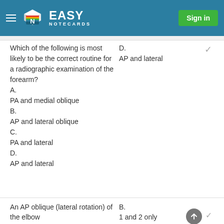EASY NOTECARDS | Sign in
Which of the following is most likely to be the correct routine for a radiographic examination of the forearm?
A.
PA and medial oblique
B.
AP and lateral oblique
C.
PA and lateral
D.
AP and lateral
D.
AP and lateral
An AP oblique (lateral rotation) of the elbow
B.
1 and 2 only